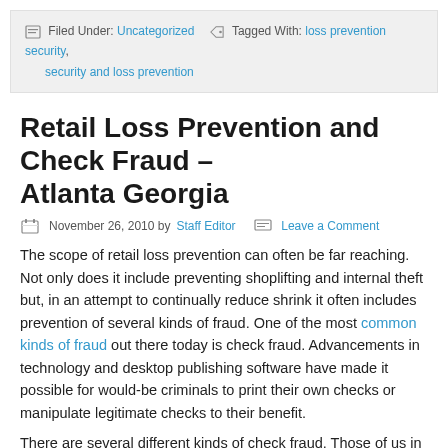Filed Under: Uncategorized   Tagged With: loss prevention security, security and loss prevention
Retail Loss Prevention and Check Fraud – Atlanta Georgia
November 26, 2010 by Staff Editor   Leave a Comment
The scope of retail loss prevention can often be far reaching. Not only does it include preventing shoplifting and internal theft but, in an attempt to continually reduce shrink it often includes prevention of several kinds of fraud. One of the most common kinds of fraud out there today is check fraud. Advancements in technology and desktop publishing software have made it possible for would-be criminals to print their own checks or manipulate legitimate checks to their benefit.
There are several different kinds of check fraud. Those of us in retail loss prevention need to be aware of the different kinds so that...